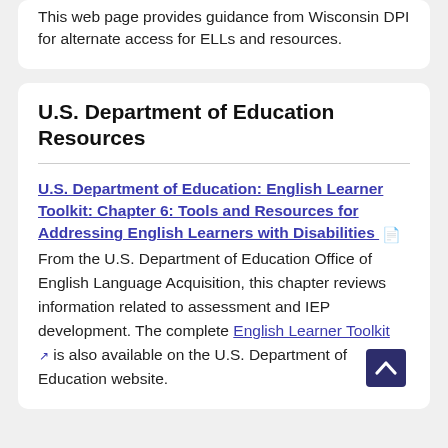This web page provides guidance from Wisconsin DPI for alternate access for ELLs and resources.
U.S. Department of Education Resources
U.S. Department of Education: English Learner Toolkit: Chapter 6: Tools and Resources for Addressing English Learners with Disabilities [PDF icon] From the U.S. Department of Education Office of English Language Acquisition, this chapter reviews information related to assessment and IEP development. The complete English Learner Toolkit [external link] is also available on the U.S. Department of Education website.